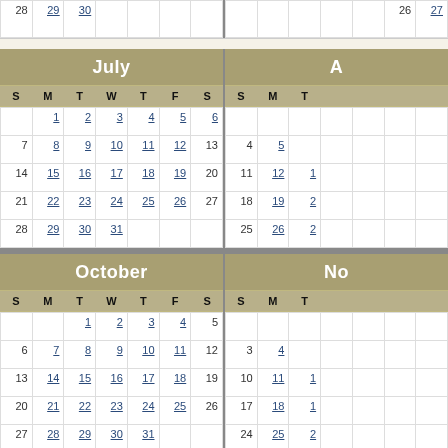| S | M | T | W | T | F | S |
| --- | --- | --- | --- | --- | --- | --- |
| 28 | 29 | 30 |  |  |  |  |
|  |  |  |  |  | 26 | 27 |
July
| S | M | T | W | T | F | S |
| --- | --- | --- | --- | --- | --- | --- |
|  | 1 | 2 | 3 | 4 | 5 | 6 |
| 7 | 8 | 9 | 10 | 11 | 12 | 13 |
| 14 | 15 | 16 | 17 | 18 | 19 | 20 |
| 21 | 22 | 23 | 24 | 25 | 26 | 27 |
| 28 | 29 | 30 | 31 |  |  |  |
August (partial)
| S | M | T | W | T |
| --- | --- | --- | --- | --- |
|  |  |  |  |  |
| 4 | 5 |  |  |  |
| 11 | 12 | 1 |  |  |
| 18 | 19 | 2 |  |  |
| 25 | 26 | 2 |  |  |
October
| S | M | T | W | T | F | S |
| --- | --- | --- | --- | --- | --- | --- |
|  |  | 1 | 2 | 3 | 4 | 5 |
| 6 | 7 | 8 | 9 | 10 | 11 | 12 |
| 13 | 14 | 15 | 16 | 17 | 18 | 19 |
| 20 | 21 | 22 | 23 | 24 | 25 | 26 |
| 27 | 28 | 29 | 30 | 31 |  |  |
November (partial)
| S | M | T |
| --- | --- | --- |
|  |  |  |
| 3 | 4 |  |
| 10 | 11 | 1 |
| 17 | 18 | 1 |
| 24 | 25 | 2 |